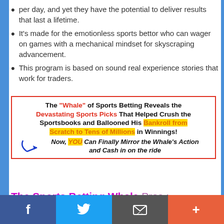per day, and yet they have the potential to deliver results that last a lifetime.
It's made for the emotionless sports bettor who can wager on games with a mechanical mindset for skyscraping advancement.
This program is based on sound real experience stories that work for traders.
[Figure (infographic): Promotional banner with red border. Text: The 'Whale' of Sports Betting Reveals the Devastating Sports Picks That Helped Crush the Sportsbooks and Ballooned His Bankroll from Scratch to Tens of Millions in Winnings! Now, YOU Can Finally Mirror the Whale's Action and Cash in on the ride]
The Sports Betting Whale Pros :
The Sports Betting Whale formula Someone who can consistently pick winning positions in sports has the power to almost print money at will.